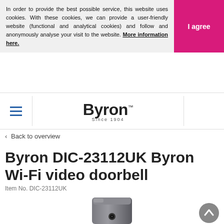In order to provide the best possible service, this website uses cookies. With these cookies, we can provide a user-friendly website (functional and analytical cookies) and follow and anonymously analyse your visit to the website. More information here.
I agree
[Figure (logo): Byron Since 1904 brand logo with hamburger menu icon]
‹ Back to overview
Byron DIC-23112UK Byron Wi-Fi video doorbell
Item No. DIC-23112UK
[Figure (photo): Partial view of Byron Wi-Fi video doorbell device in dark grey/silver color]